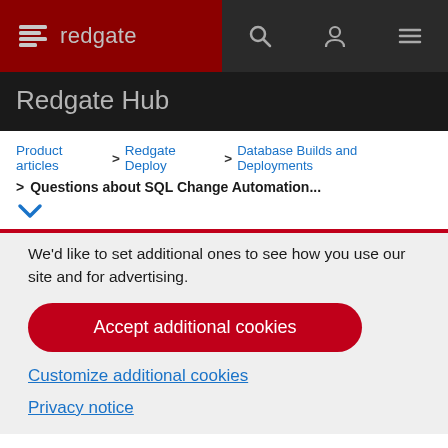redgate
Redgate Hub
Product articles > Redgate Deploy > Database Builds and Deployments > Questions about SQL Change Automation...
We'd like to set additional ones to see how you use our site and for advertising.
Accept additional cookies
Customize additional cookies
Privacy notice